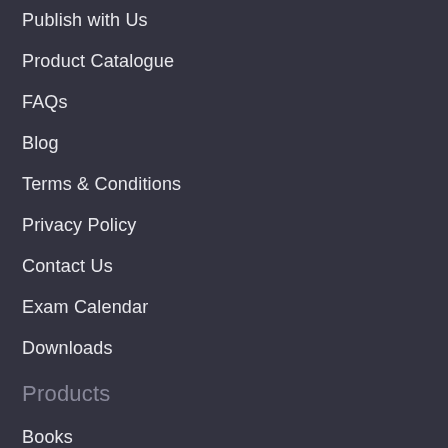Publish with Us
Product Catalogue
FAQs
Blog
Terms & Conditions
Privacy Policy
Contact Us
Exam Calendar
Downloads
Products
Books
Magazines